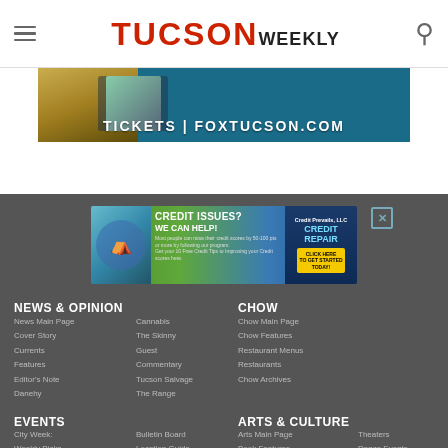Tucson Weekly
[Figure (infographic): Advertisement banner for Fox Tucson with text TICKETS | FOXTUCSON.COM on teal background with gold accent]
[Figure (infographic): Credit Issues? We Can Help! Credit Repair advertisement banner]
NEWS & OPINION
News Main Page
Cover Story
Currents
Features
Editor's Note
Danehy
Cannabis
The Skinny
Guest Commentary
Tucson Salvage
The Range
CHOW
Chow Main Page
Chow Features
Restaurant Menus
Restaurants
Chow Archives
EVENTS
City Week: Weekly Picks
Bulletin Board
Location Guide
ARTS & CULTURE
Arts Main Page
Theaters
Book Features
Dance Events